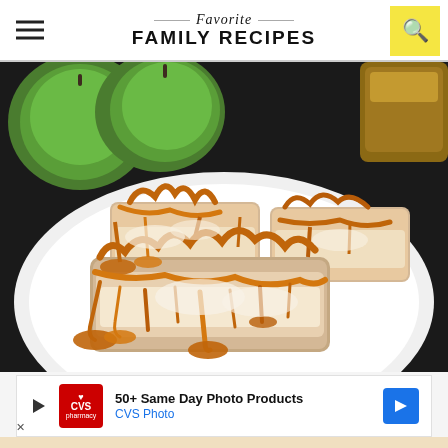Favorite FAMILY RECIPES
[Figure (photo): Close-up photo of caramel apple cheesecake bars drizzled with caramel sauce on a white plate, with green apples and a jar of caramel in the background]
[Figure (other): CVS Photo advertisement banner: '50+ Same Day Photo Products - CVS Photo']